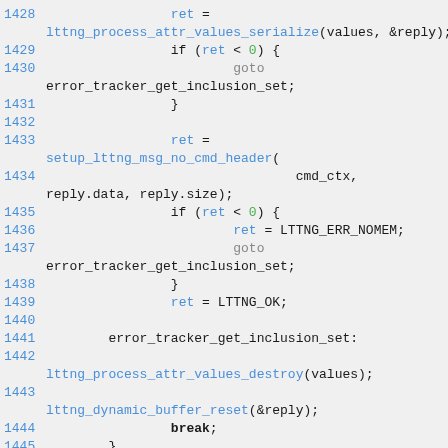[Figure (screenshot): Source code snippet in C showing lines 1428-1445 of a file, with line numbers in blue, function calls in blue, keywords in grey, and numeric literals highlighted in green. Code shows lttng process attribute value serialization and error handling logic.]